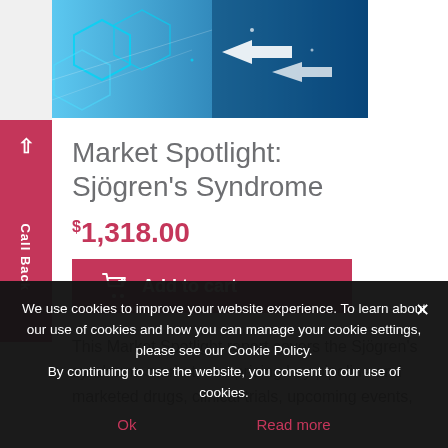[Figure (illustration): Blue technology/network themed hero banner with hexagonal shapes and arrows on a gradient blue background]
Market Spotlight: Sjögren's Syndrome
$1,318.00
Add to cart
This Market Spotlight report covers the Sjögren's syndrome market, comprising key pipeline and marketed drugs, clinical trials, upcoming events,
We use cookies to improve your website experience. To learn about our use of cookies and how you can manage your cookie settings, please see our Cookie Policy. By continuing to use the website, you consent to our use of cookies.
Ok
Read more